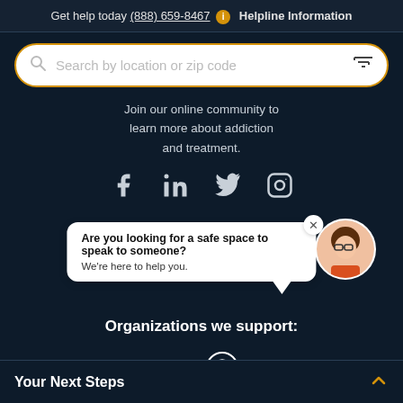Get help today (888) 659-8467 i Helpline Information
[Figure (screenshot): Search bar with placeholder text 'Search by location or zip code', gold border, search icon on left, filter icon on right]
Join our online community to learn more about addiction and treatment.
[Figure (infographic): Social media icons row: Facebook, LinkedIn, Twitter, Instagram]
[Figure (illustration): Chat bubble with text 'Are you looking for a safe space to speak to someone? We're here to help you.' with close X button, and avatar of woman with glasses]
Organizations we support:
[Figure (logo): SAMHSA logo in white italic text and abovetheinfluence logo with circle arrow icon]
Your Next Steps